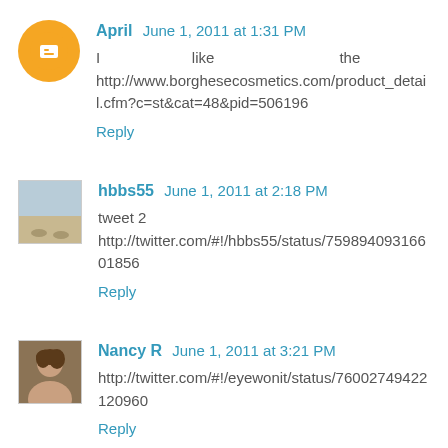April  June 1, 2011 at 1:31 PM
I like the http://www.borghesecosmetics.com/product_detail.cfm?c=st&cat=48&pid=506196
Reply
hbbs55  June 1, 2011 at 2:18 PM
tweet 2
http://twitter.com/#!/hbbs55/status/75989409316601856
Reply
Nancy R  June 1, 2011 at 3:21 PM
http://twitter.com/#!/eyewonit/status/76002749422120960
Reply